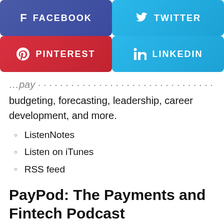[Figure (infographic): Social media share buttons: Facebook (purple-blue), Twitter (light blue), Pinterest (red), LinkedIn (light blue)]
budgeting, forecasting, leadership, career development, and more.
ListenNotes
Listen on iTunes
RSS feed
PayPod: The Payments and Fintech Podcast
[Figure (photo): Two podcast cover images side by side on light blue background, partially cropped at bottom]